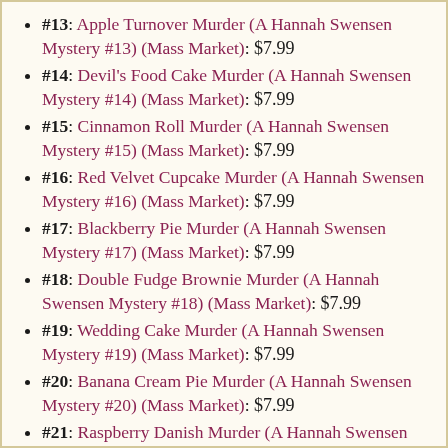#13: Apple Turnover Murder (A Hannah Swensen Mystery #13) (Mass Market): $7.99
#14: Devil's Food Cake Murder (A Hannah Swensen Mystery #14) (Mass Market): $7.99
#15: Cinnamon Roll Murder (A Hannah Swensen Mystery #15) (Mass Market): $7.99
#16: Red Velvet Cupcake Murder (A Hannah Swensen Mystery #16) (Mass Market): $7.99
#17: Blackberry Pie Murder (A Hannah Swensen Mystery #17) (Mass Market): $7.99
#18: Double Fudge Brownie Murder (A Hannah Swensen Mystery #18) (Mass Market): $7.99
#19: Wedding Cake Murder (A Hannah Swensen Mystery #19) (Mass Market): $7.99
#20: Banana Cream Pie Murder (A Hannah Swensen Mystery #20) (Mass Market): $7.99
#21: Raspberry Danish Murder (A Hannah Swensen Mystery #21) (Mass Market): $7.99
#23: Coconut Layer Cake Murder (A Hannah Swensen